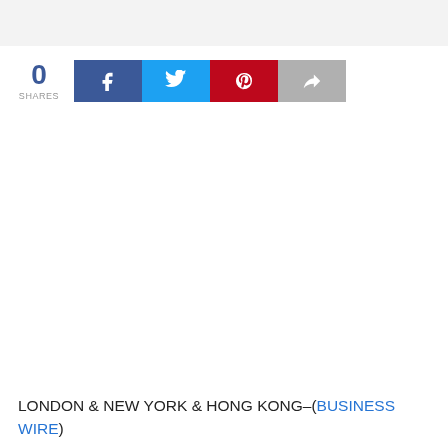[Figure (screenshot): Social share bar with 0 shares count and four social media buttons: Facebook (blue), Twitter (light blue), Pinterest (red), and a share button (gray)]
LONDON & NEW YORK & HONG KONG–(BUSINESS WIRE) ...